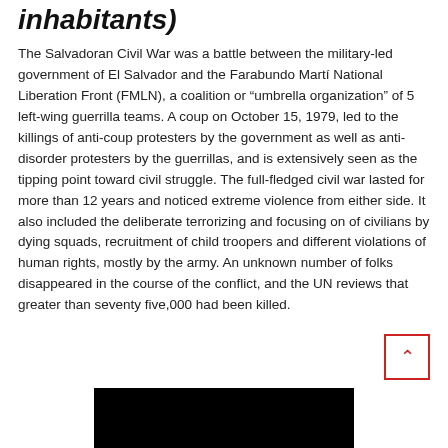inhabitants)
The Salvadoran Civil War was a battle between the military-led government of El Salvador and the Farabundo Martí National Liberation Front (FMLN), a coalition or “umbrella organization” of 5 left-wing guerrilla teams. A coup on October 15, 1979, led to the killings of anti-coup protesters by the government as well as anti-disorder protesters by the guerrillas, and is extensively seen as the tipping point toward civil struggle. The full-fledged civil war lasted for more than 12 years and noticed extreme violence from either side. It also included the deliberate terrorizing and focusing on of civilians by dying squads, recruitment of child troopers and different violations of human rights, mostly by the army. An unknown number of folks disappeared in the course of the conflict, and the UN reviews that greater than seventy five,000 had been killed.
[Figure (photo): A black bar and partial photo of a person, likely related to the Salvadoran Civil War.]